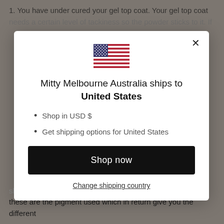1. You have under cured your gel top coat. Your gel top coat needs a certain level of tackiness so the powder sticks to it. If
[Figure (illustration): US flag SVG illustration inside a modal dialog]
Mitty Melbourne Australia ships to United States
Shop in USD $
Get shipping options for United States
Shop now
Change shipping country
shimmer powders, and holographic powders. The difference these are the pigment used which in return give you the different